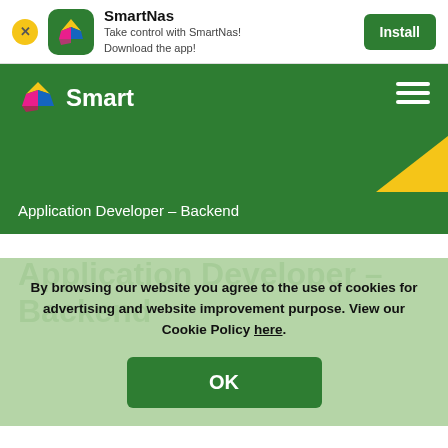[Figure (screenshot): App install banner: close button (X), Smart app icon (green rounded square with Smart logo), app name SmartNas, subtitle text, and green Install button]
SmartNas
Take control with SmartNas!
Download the app!
[Figure (logo): Smart brand logo: colorful arrow/diamond icon and white 'Smart' text on green navigation bar with hamburger menu and yellow triangle decoration]
Application Developer – Backend
Application Developer – Backend
By browsing our website you agree to the use of cookies for advertising and website improvement purpose. View our Cookie Policy here.